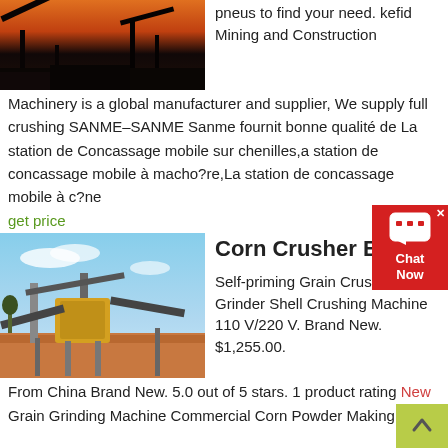[Figure (photo): Mining/construction site at sunset with silhouettes of machinery]
pneus to find your need. kefid Mining and Construction Machinery is a global manufacturer and supplier, We supply full crushing SANME–SANME Sanme fournit bonne qualité de La station de Concassage mobile sur chenilles,a station de concassage mobile à macho?re,La station de concassage mobile à c?ne
get price
[Figure (photo): Large industrial crushing/screening machine outdoors on dirt ground with blue sky]
Corn Crusher EBay
Self-priming Grain Crusher Corn Grinder Shell Crushing Machine 110 V/220 V. Brand New. $1,255.00.
From China Brand New. 5.0 out of 5 stars. 1 product rating New Grain Grinding Machine Commercial Corn Powder Making